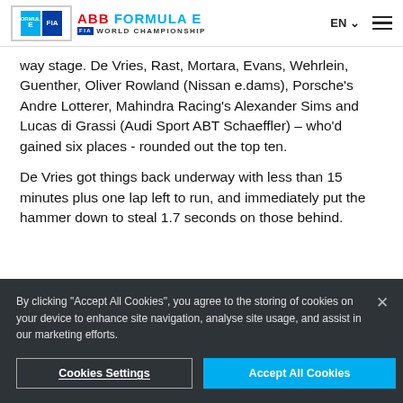ABB FORMULA E FIA WORLD CHAMPIONSHIP
way stage. De Vries, Rast, Mortara, Evans, Wehrlein, Guenther, Oliver Rowland (Nissan e.dams), Porsche's Andre Lotterer, Mahindra Racing's Alexander Sims and Lucas di Grassi (Audi Sport ABT Schaeffler) – who'd gained six places - rounded out the top ten.
De Vries got things back underway with less than 15 minutes plus one lap left to run, and immediately put the hammer down to steal 1.7 seconds on those behind.
By clicking "Accept All Cookies", you agree to the storing of cookies on your device to enhance site navigation, analyse site usage, and assist in our marketing efforts.